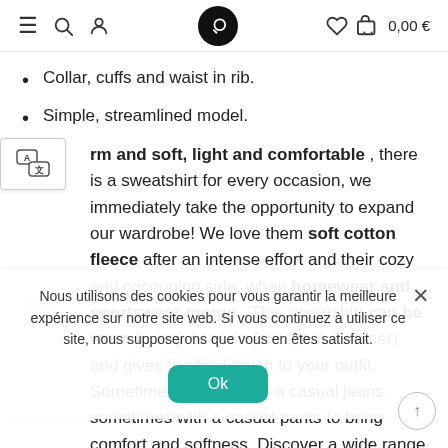≡ 🔍 👤  [logo]  ♡ 🛒 0,00 €
Collar, cuffs and waist in rib.
Simple, streamlined model.
rm and soft, light and comfortable , there is a sweatshirt for every occasion, we immediately take the opportunity to expand our wardrobe! We love them soft cotton fleece after an intense effort and their cozy and cocooning side, when homewear and sportswear merge . This sweatshirt can be worn in any season (except in summer) and gives the final touch to your outfit. Sometimes to wear with a casual jeans, sometimes with a casual pants to bring comfort and softness. Discover a wide range of styles and colors that adapt to all tastes.
Nous utilisons des cookies pour vous garantir la meilleure expérience sur notre site web. Si vous continuez à utiliser ce site, nous supposerons que vous en êtes satisfait.
Ok
Size: